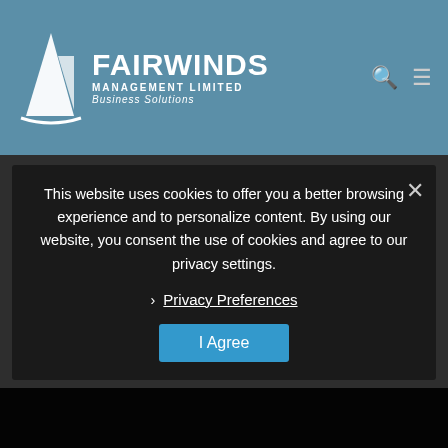[Figure (logo): Fairwinds Management Limited Business Solutions logo with sailboat icon on blue header background]
Mila Rogovic is the company's receptionist. She is a High School graduate in Economics Science and brings with her over 10 years experience in administration.
Her tasks revolve around the day-to-day running of the office by taking care of office correspondence,filing, office and kitchen supplies, and greeting our clients and guests, amongst others, whilst ensuring that everybody feels comfortable at the office.
Mila's ongoing goal is to keep on working to improve her skills and continue excelling in her job.
Mila is fluent in Serbi… [languages].
This website uses cookies to offer you a better browsing experience and to personalize content. By using our website, you consent the use of cookies and agree to our privacy settings.